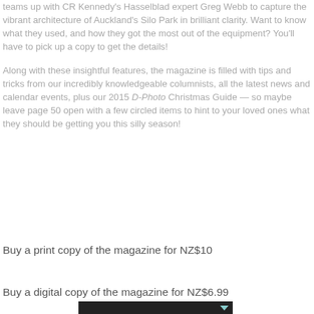teams up with CR Kennedy's Hasselblad expert Greg Webb to capture the vibrant architecture of Auckland's Silo Park in brilliant clarity. Want to know what they used, and how they got the most out of the equipment? You'll have to pick up a copy to get the details!
Along with these insightful features, the magazine is filled with tips and tricks from our incredibly knowledgeable columnists, all the latest news and calendar events, plus our 2015 D-Photo Christmas Guide — so maybe leave page 50 open with a few circled items to hint to your loved ones what they should be getting you this silly season!
Buy a print copy of the magazine for NZ$10
Buy a digital copy of the magazine for NZ$6.99